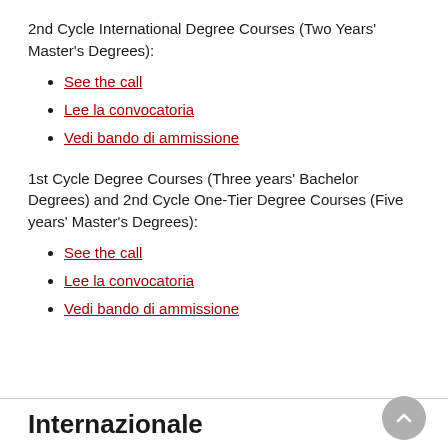2nd Cycle International Degree Courses (Two Years' Master's Degrees):
See the call
Lee la convocatoria
Vedi bando di ammissione
1st Cycle Degree Courses (Three years' Bachelor Degrees) and 2nd Cycle One-Tier Degree Courses (Five years' Master's Degrees):
See the call
Lee la convocatoria
Vedi bando di ammissione
Internazionale